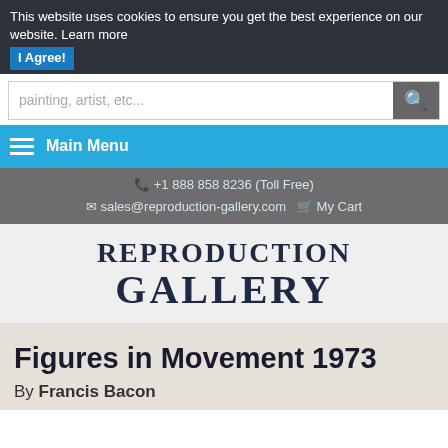This website uses cookies to ensure you get the best experience on our website. Learn more
I Agree!
painting, artist, etc...
Main Menu
📞 +1 888 858 8236 (Toll Free)
✉ sales@reproduction-gallery.com  🛒 My Cart
REPRODUCTION GALLERY
Figures in Movement 1973
By Francis Bacon